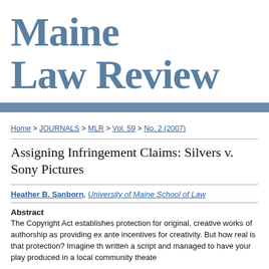Maine Law Review
Home > JOURNALS > MLR > Vol. 59 > No. 2 (2007)
Assigning Infringement Claims: Silvers v. Sony Pictures
Heather B. Sanborn, University of Maine School of Law
Abstract
The Copyright Act establishes protection for original, creative works of authorship as providing ex ante incentives for creativity. But how real is that protection? Imagine th written a script and managed to have your play produced in a local community theate